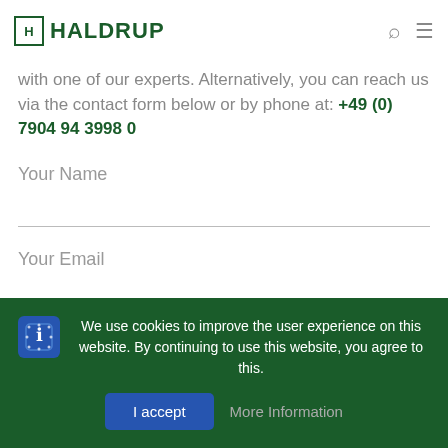HALDRUP
with one of our experts. Alternatively, you can reach us via the contact form below or by phone at: +49 (0) 7904 94 3998 0
Your Name
Your Email
We use cookies to improve the user experience on this website. By continuing to use this website, you agree to this.
I accept
More Information